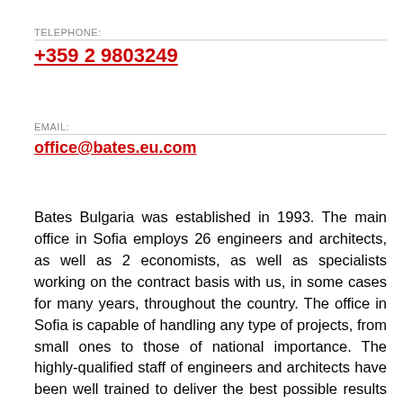TELEPHONE:
+359 2 9803249
EMAIL:
office@bates.eu.com
Bates Bulgaria was established in 1993. The main office in Sofia employs 26 engineers and architects, as well as 2 economists, as well as specialists working on the contract basis with us, in some cases for many years, throughout the country. The office in Sofia is capable of handling any type of projects, from small ones to those of national importance. The highly-qualified staff of engineers and architects have been well trained to deliver the best possible results with internationally recognised quality, all of us speak English and are members of the professional chambers. There are Russian and German speakers among us as well. Our activities include development and